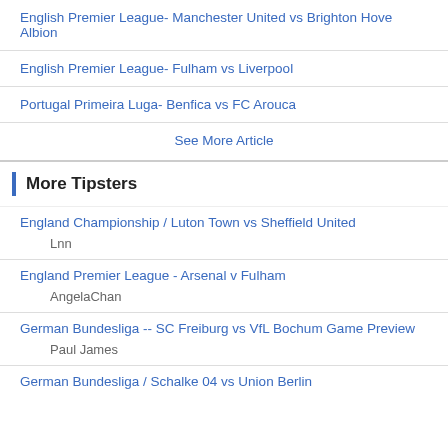English Premier League- Manchester United vs Brighton Hove Albion
English Premier League- Fulham vs Liverpool
Portugal Primeira Luga- Benfica vs FC Arouca
See More Article
More Tipsters
England Championship / Luton Town vs Sheffield United
Lnn
England Premier League - Arsenal v Fulham
AngelaChan
German Bundesliga -- SC Freiburg vs VfL Bochum Game Preview
Paul James
German Bundesliga / Schalke 04 vs Union Berlin